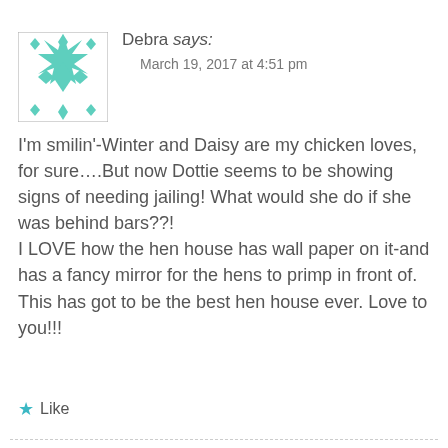[Figure (illustration): Green and white geometric/kaleidoscope pattern avatar image in a square frame]
Debra says:
March 19, 2017 at 4:51 pm
I'm smilin'-Winter and Daisy are my chicken loves, for sure....But now Dottie seems to be showing signs of needing jailing! What would she do if she was behind bars??!
I LOVE how the hen house has wall paper on it-and has a fancy mirror for the hens to primp in front of. This has got to be the best hen house ever. Love to you!!!
★ Like